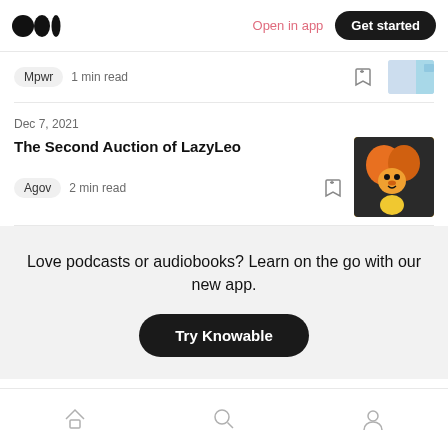Medium logo | Open in app | Get started
Mpwr  1 min read
Dec 7, 2021
The Second Auction of LazyLeo
Agov  2 min read
Love podcasts or audiobooks? Learn on the go with our new app.
Try Knowable
Home | Search | Profile